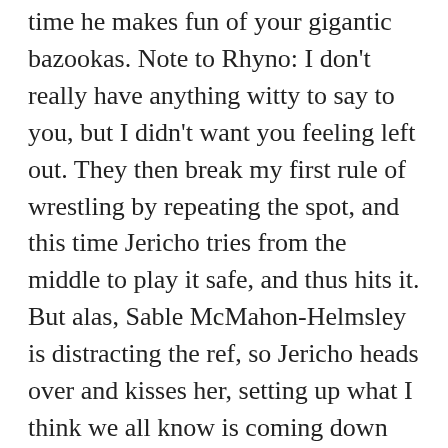time he makes fun of your gigantic bazookas. Note to Rhyno: I don't really have anything witty to say to you, but I didn't want you feeling left out. They then break my first rule of wrestling by repeating the spot, and this time Jericho tries from the middle to play it safe, and thus hits it. But alas, Sable McMahon-Helmsley is distracting the ref, so Jericho heads over and kisses her, setting up what I think we all know is coming down the road. Lionsault gets two, but Rhyno comes back with a spinebuster and Walls of Rhyno! Jericho makes the ropes and Rhyno preps for the GOAR GOAR GOAR, but misses and Jericho finishes with a Rhynotamer at 12:34. Good effort from everyone not 3 inches taller than they should be. *** I hear through the grapevine that Jericho is now actively sucking up to the booking committee,